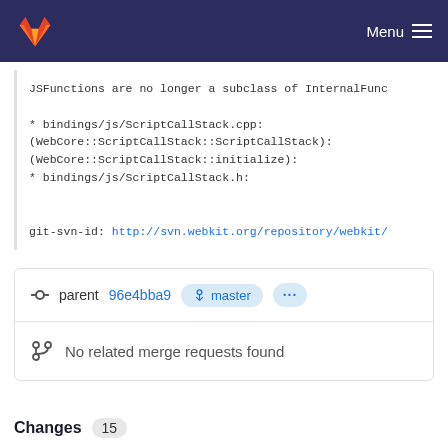GitLab Menu
JSFunctions are no longer a subclass of InternalFunc

* bindings/js/ScriptCallStack.cpp:
(WebCore::ScriptCallStack::ScriptCallStack):
(WebCore::ScriptCallStack::initialize):
* bindings/js/ScriptCallStack.h:


git-svn-id: http://svn.webkit.org/repository/webkit/
parent 96e4bba9 master ... No related merge requests found
Changes 15